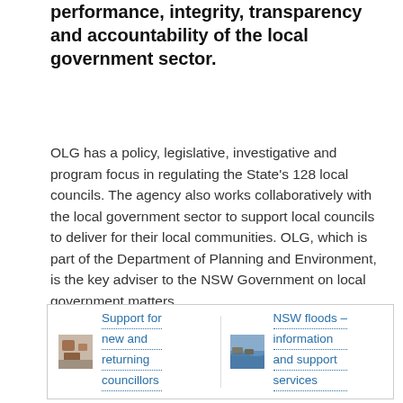performance, integrity, transparency and accountability of the local government sector.
OLG has a policy, legislative, investigative and program focus in regulating the State's 128 local councils. The agency also works collaboratively with the local government sector to support local councils to deliver for their local communities. OLG, which is part of the Department of Planning and Environment, is the key adviser to the NSW Government on local government matters.
[Figure (other): Card box with two linked items: 'Support for new and returning councillors' with a thumbnail image, and 'NSW floods – information and support services' with a thumbnail image of a flood.]